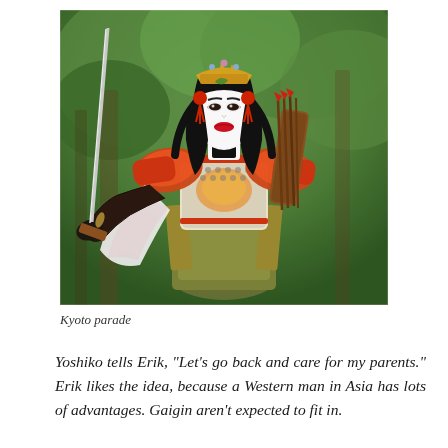[Figure (photo): A person dressed in elaborate traditional Japanese samurai or warrior costume with white face makeup, ornate orange and gold armor, black hair with golden crown, holding a sword, and carrying arrows on their back. Background shows blurred green trees. Photo taken at Kyoto parade.]
Kyoto parade
Yoshiko tells Erik, “Let’s go back and care for my parents.” Erik likes the idea, because a Western man in Asia has lots of advantages. Gaigin aren’t expected to fit in.